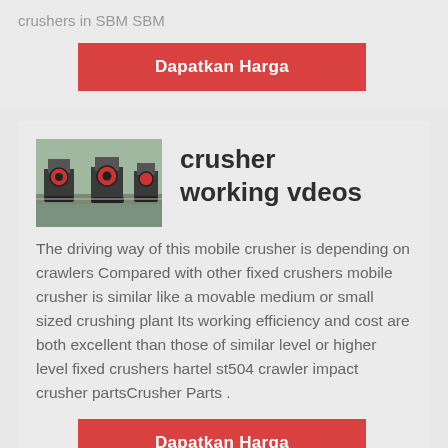crushers in SBM SBM
Dapatkan Harga
[Figure (photo): Photo of industrial mobile crusher machines outdoors]
crusher working vdeos
The driving way of this mobile crusher is depending on crawlers Compared with other fixed crushers mobile crusher is similar like a movable medium or small sized crushing plant Its working efficiency and cost are both excellent than those of similar level or higher level fixed crushers hartel st504 crawler impact crusher partsCrusher Parts .
Dapatkan Harga